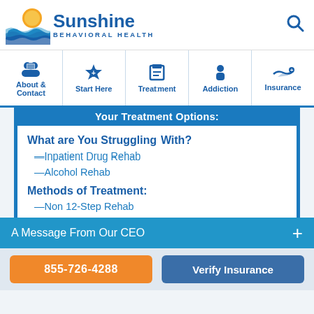[Figure (logo): Sunshine Behavioral Health logo with sun and wave graphic]
Sunshine BEHAVIORAL HEALTH
[Figure (infographic): Navigation bar with icons: About & Contact, Start Here, Treatment, Addiction, Insurance]
Your Treatment Options:
What are You Struggling With?
—Inpatient Drug Rehab
—Alcohol Rehab
Methods of Treatment:
—Non 12-Step Rehab
A Message From Our CEO
855-726-4288
Verify Insurance